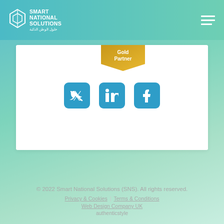[Figure (logo): Smart National Solutions logo with hexagon icon and Arabic text, in white on teal gradient header bar with hamburger menu icon on right]
[Figure (illustration): Gold Partner badge/ribbon in golden colour with text 'Gold Partner']
[Figure (illustration): Three social media icon buttons (Twitter, LinkedIn, Facebook) in teal/blue rounded squares]
© 2022 Smart National Solutions (SNS). All rights reserved.
Privacy & Cookies | Terms & Conditions
Web Design Company UK
authenticstyle